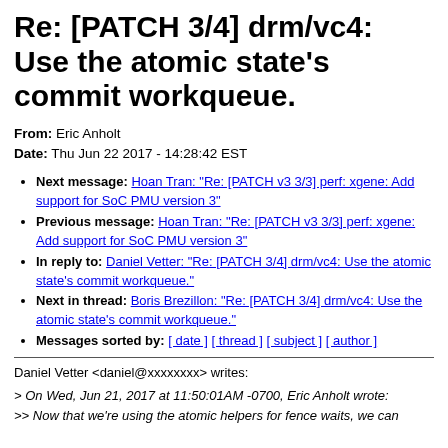Re: [PATCH 3/4] drm/vc4: Use the atomic state's commit workqueue.
From: Eric Anholt
Date: Thu Jun 22 2017 - 14:28:42 EST
Next message: Hoan Tran: "Re: [PATCH v3 3/3] perf: xgene: Add support for SoC PMU version 3"
Previous message: Hoan Tran: "Re: [PATCH v3 3/3] perf: xgene: Add support for SoC PMU version 3"
In reply to: Daniel Vetter: "Re: [PATCH 3/4] drm/vc4: Use the atomic state's commit workqueue."
Next in thread: Boris Brezillon: "Re: [PATCH 3/4] drm/vc4: Use the atomic state's commit workqueue."
Messages sorted by: [ date ] [ thread ] [ subject ] [ author ]
Daniel Vetter <daniel@xxxxxxxx> writes:
> On Wed, Jun 21, 2017 at 11:50:01AM -0700, Eric Anholt wrote:
>> Now that we're using the atomic helpers for fence waits, we can